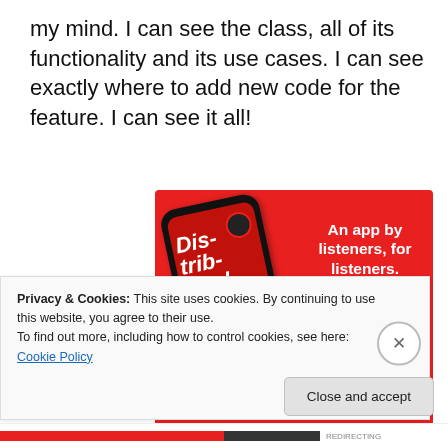my mind. I can see the class, all of its functionality and its use cases. I can see exactly where to add new code for the feature. I can see it all!
[Figure (screenshot): Advertisement for a podcast app showing a smartphone with 'Dis-trib-uted' podcast on screen, red background, text 'An app by listeners, for listeners.' and a 'Download now' button]
Privacy & Cookies: This site uses cookies. By continuing to use this website, you agree to their use.
To find out more, including how to control cookies, see here: Cookie Policy
Close and accept